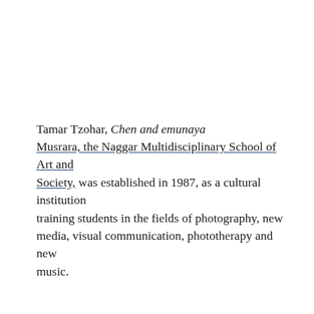Tamar Tzohar, Chen and emunaya Musrara, the Naggar Multidisciplinary School of Art and Society, was established in 1987, as a cultural institution training students in the fields of photography, new media, visual communication, phototherapy and new music.